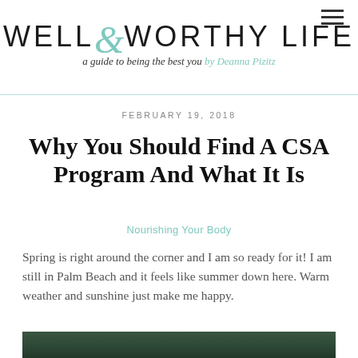WELL & WORTHY LIFE — a guide to being the best you by Deanna Pizitz
FEBRUARY 19, 2018
Why You Should Find A CSA Program And What It Is
Nourishing Your Body
Spring is right around the corner and I am so ready for it!  I am still in Palm Beach and it feels like summer down here. Warm weather and sunshine just make me happy.
[Figure (photo): Outdoor photo with dark green foliage, partially visible at bottom of page]